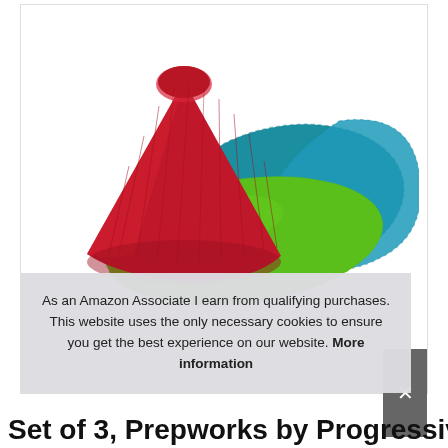[Figure (photo): Three silicone lid covers/bowl covers – one red cone-shaped (upright, center-left), one green flat oval, one teal/blue large flat organic shape – stacked/overlapping on a white background.]
As an Amazon Associate I earn from qualifying purchases. This website uses the only necessary cookies to ensure you get the best experience on our website. More information
Set of 3, Prepworks by Progressive, Jar